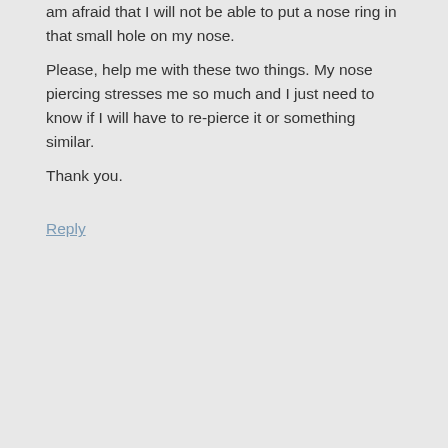am afraid that I will not be able to put a nose ring in that small hole on my nose.
Please, help me with these two things. My nose piercing stresses me so much and I just need to know if I will have to re-pierce it or something similar.
Thank you.
Reply